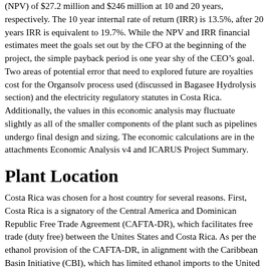(NPV) of $27.2 million and $246 million at 10 and 20 years, respectively. The 10 year internal rate of return (IRR) is 13.5%, after 20 years IRR is equivalent to 19.7%. While the NPV and IRR financial estimates meet the goals set out by the CFO at the beginning of the project, the simple payback period is one year shy of the CEO’s goal. Two areas of potential error that need to explored future are royalties cost for the Organsolv process used (discussed in Bagasee Hydrolysis section) and the electricity regulatory statutes in Costa Rica. Additionally, the values in this economic analysis may fluctuate slightly as all of the smaller components of the plant such as pipelines undergo final design and sizing. The economic calculations are in the attachments Economic Analysis v4 and ICARUS Project Summary.
Plant Location
Costa Rica was chosen for a host country for several reasons. First, Costa Rica is a signatory of the Central America and Dominican Republic Free Trade Agreement (CAFTA-DR), which facilitates free trade (duty free) between the Unites States and Costa Rica. As per the ethanol provision of the CAFTA-DR, in alignment with the Caribbean Basin Initiative (CBI), which has limited ethanol imports to the United States at 7% of US domestic production. Costa Rica is